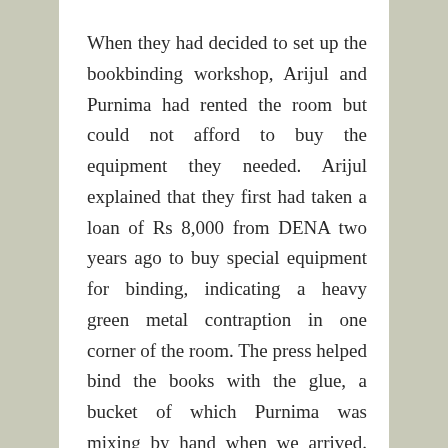When they had decided to set up the bookbinding workshop, Arijul and Purnima had rented the room but could not afford to buy the equipment they needed. Arijul explained that they first had taken a loan of Rs 8,000 from DENA two years ago to buy special equipment for binding, indicating a heavy green metal contraption in one corner of the room. The press helped bind the books with the glue, a bucket of which Purnima was mixing by hand when we arrived. Since then, the loan amounts had increased, and they were now on their fourth loan of Rs 17,000. But how well the business did depended on the season. Usually, they managed the work between husband and wife, but during the busy seasons, such as